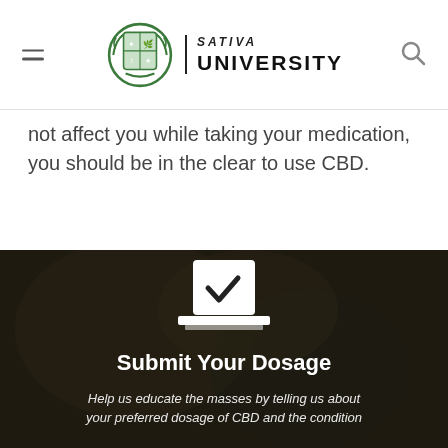SATIVA UNIVERSITY
not affect you while taking your medication, you should be in the clear to use CBD.
[Figure (screenshot): Dark background banner section with a ballot/checkbox icon, bold white title 'Submit Your Dosage' and italic subtitle 'Help us educate the masses by telling us about your preferred dosage of CBD and the condition']